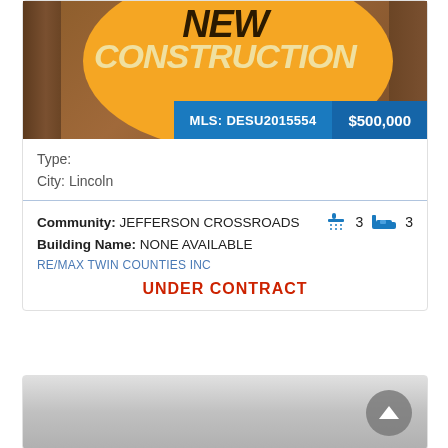[Figure (photo): New construction property listing photo with orange circle graphic and 'NEW CONSTRUCTION' text overlay on wooden frame construction site background]
MLS: DESU2015554   $500,000
Type:
City: Lincoln
Community: JEFFERSON CROSSROADS   3 [shower icon] 3 [bed icon]
Building Name: NONE AVAILABLE
RE/MAX TWIN COUNTIES INC
UNDER CONTRACT
[Figure (photo): Partially visible second property listing with gray gradient background]